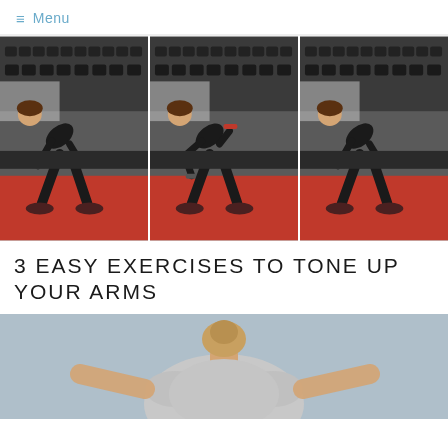≡ Menu
[Figure (photo): Three-panel sequence of photos showing a woman performing a dumbbell exercise (bent-over rows) in a gym. She is leaning forward with dumbbells, in a gym with a rack of weights in the background and a red floor mat. Three positions of the exercise movement are shown side by side.]
3 EASY EXERCISES TO TONE UP YOUR ARMS
[Figure (photo): Partial photo showing the back of a person (woman) in a light gray top, with arms raised or extended, against a blurred light blue/gray background. The image is cropped, showing only the upper torso and back.]